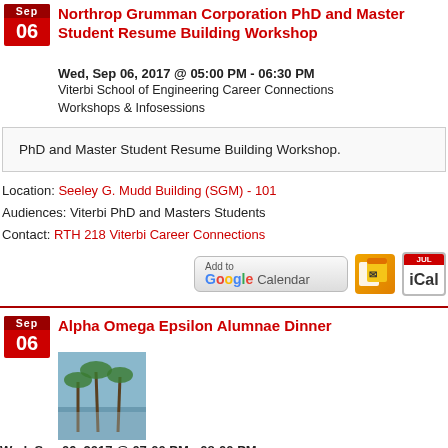Northrop Grumman Corporation PhD and Master Student Resume Building Workshop
Wed, Sep 06, 2017 @ 05:00 PM - 06:30 PM
Viterbi School of Engineering Career Connections
Workshops & Infosessions
PhD and Master Student Resume Building Workshop.
Location: Seeley G. Mudd Building (SGM) - 101
Audiences: Viterbi PhD and Masters Students
Contact: RTH 218 Viterbi Career Connections
[Figure (infographic): Calendar add buttons: Add to Google Calendar, Outlook, iCal]
Alpha Omega Epsilon Alumnae Dinner
[Figure (photo): Thumbnail photo of palm trees]
Wed, Sep 06, 2017 @ 07:00 PM - 08:00 PM
Viterbi School of Engineering Student Organizations
Student Activity
Come meet some of Alpha Omega Epsilon's successful